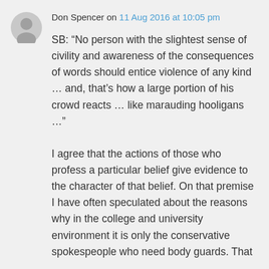Don Spencer on 11 Aug 2016 at 10:05 pm
SB: “No person with the slightest sense of civility and awareness of the consequences of words should entice violence of any kind … and, that’s how a large portion of his crowd reacts … like marauding hooligans …” I agree that the actions of those who profess a particular belief give evidence to the character of that belief. On that premise I have often speculated about the reasons why in the college and university environment it is only the conservative spokespeople who need body guards. That